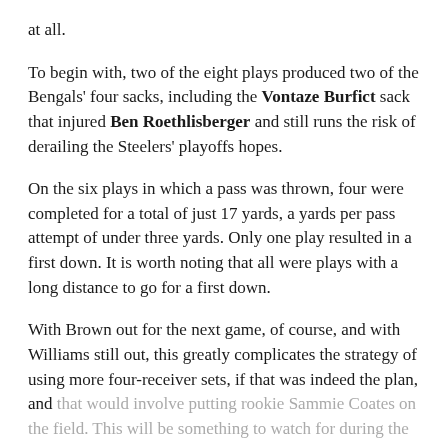at all.
To begin with, two of the eight plays produced two of the Bengals' four sacks, including the Vontaze Burfict sack that injured Ben Roethlisberger and still runs the risk of derailing the Steelers' playoffs hopes.
On the six plays in which a pass was thrown, four were completed for a total of just 17 yards, a yards per pass attempt of under three yards. Only one play resulted in a first down. It is worth noting that all were plays with a long distance to go for a first down.
With Brown out for the next game, of course, and with Williams still out, this greatly complicates the strategy of using more four-receiver sets, if that was indeed the plan, and that would involve putting rookie Sammie Coates on the field. This will be something to watch for during the game